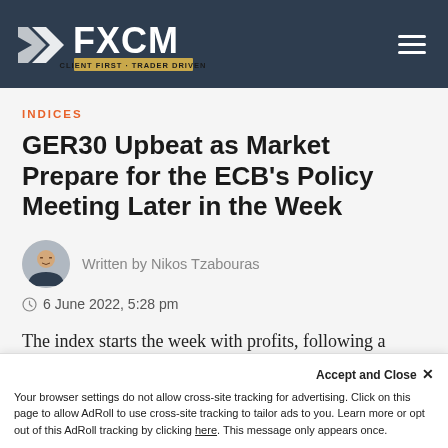FXCM - CLIENT FIRST · TRADER DRIVEN
INDICES
GER30 Upbeat as Market Prepare for the ECB's Policy Meeting Later in the Week
Written by Nikos Tzabouras
6 June 2022, 5:28 pm
The index starts the week with profits, following a mixed performance in the previous one, as
Accept and Close ×
Your browser settings do not allow cross-site tracking for advertising. Click on this page to allow AdRoll to use cross-site tracking to tailor ads to you. Learn more or opt out of this AdRoll tracking by clicking here. This message only appears once.